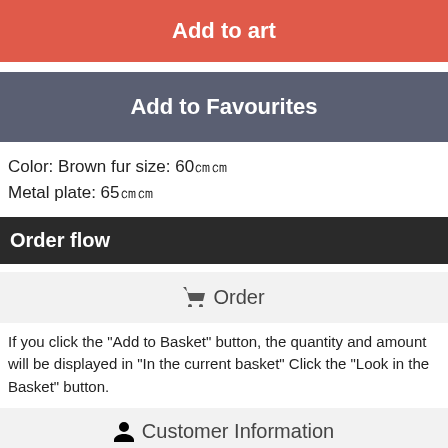Add to art
Add to Favourites
Color: Brown fur size: 60㎝㎝
Metal plate: 65㎝㎝
Order flow
🛒 Order
If you click the "Add to Basket" button, the quantity and amount will be displayed in "In the current basket" Click the "Look in the Basket" button.
👤 Customer Information
After clicking the "Purchase Procedure" button, please log in if you